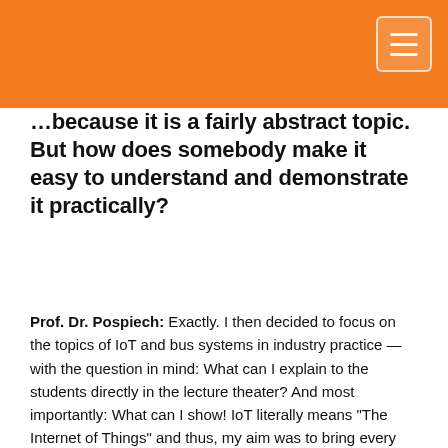…because it is a fairly abstract topic. But how does somebody make it easy to understand and demonstrate it practically?
Prof. Dr. Pospiech: Exactly. I then decided to focus on the topics of IoT and bus systems in industry practice — with the question in mind: What can I explain to the students directly in the lecture theater? And most importantly: What can I show! IoT literally means "The Internet of Things" and thus, my aim was to bring every electrical "thing" into the Internet, even a simple light bulb. This led to the idea to pack a lot of components together into a small space. If these components can illustrate the IoT in a portable box, then Open Platform Communications Unified Architecture (OPC UA) is unavoidable. So, I looked at it